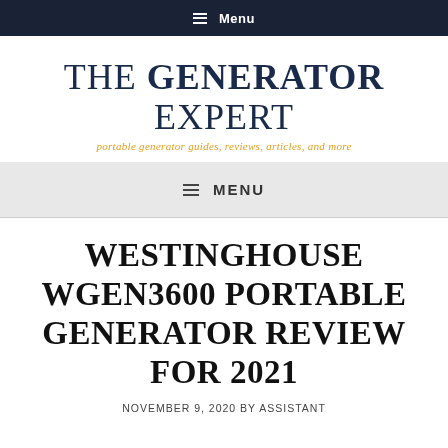☰ Menu
THE GENERATOR EXPERT
portable generator guides, reviews, articles, and more
≡ MENU
WESTINGHOUSE WGEN3600 PORTABLE GENERATOR REVIEW FOR 2021
NOVEMBER 9, 2020 BY ASSISTANT